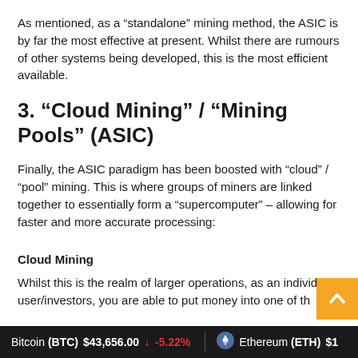As mentioned, as a “standalone” mining method, the ASIC is by far the most effective at present. Whilst there are rumours of other systems being developed, this is the most efficient available.
3. “Cloud Mining” / “Mining Pools” (ASIC)
Finally, the ASIC paradigm has been boosted with “cloud” / “pool” mining. This is where groups of miners are linked together to essentially form a “supercomputer” – allowing for faster and more accurate processing:
Cloud Mining
Whilst this is the realm of larger operations, as an individual user/investors, you are able to put money into one of th…
Bitcoin (BTC) $43,656.00 ↓ -5.22%   Ethereum (ETH) $1…